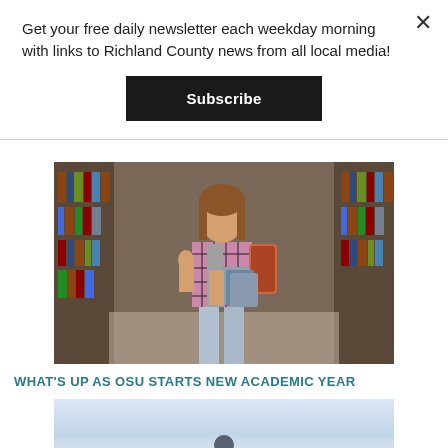Get your free daily newsletter each weekday morning with links to Richland County news from all local media!
Subscribe
[Figure (photo): Female student in a plaid shirt carrying books and a backpack, standing in a library aisle between bookshelves]
WHAT'S UP AS OSU STARTS NEW ACADEMIC YEAR
[Figure (photo): Partial view of a second article image, showing a light blue sky scene]